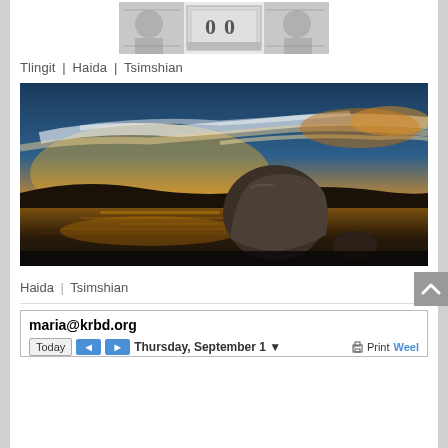[Figure (illustration): Decorative banner image with ornate Native American / indigenous art style design, showing stylized figures and patterns in black and white/grayscale, resembling currency-style engraving with the number 0 visible.]
Tlingit | Haida | Tsimshian
[Figure (photo): Dramatic sunset landscape photograph showing a large boulder/rock in the foreground sitting in calm water, with a golden-orange sunset sky filled with streaking clouds, dark silhouetted hills/mountains in the background, and golden reflections on the water surface.]
Haida | Tsimshian
maria@krbd.org
Today  ◄  ►  Thursday, September 1  ▼  Print  Weel